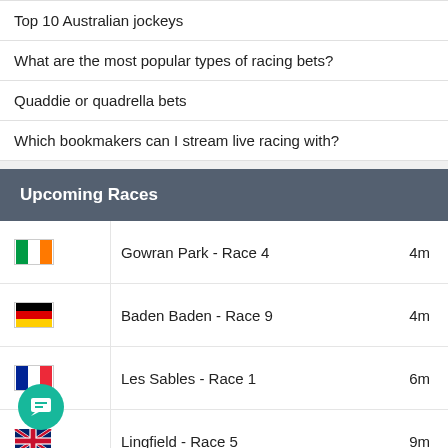Top 10 Australian jockeys
What are the most popular types of racing bets?
Quaddie or quadrella bets
Which bookmakers can I stream live racing with?
Upcoming Races
| Flag | Race | Time |
| --- | --- | --- |
| IE | Gowran Park - Race 4 | 4m |
| DE | Baden Baden - Race 9 | 4m |
| FR | Les Sables - Race 1 | 6m |
| GB | Lingfield - Race 5 | 9m |
| ZA | Greyville - Race 8 | 14m |
| GB | Wolverhampton - Race 5 | 19m |